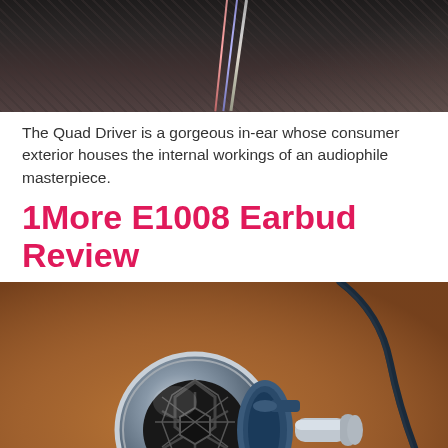[Figure (photo): Close-up photo of earphones with braided/colored cable against dark textured background]
The Quad Driver is a gorgeous in-ear whose consumer exterior houses the internal workings of an audiophile masterpiece.
1More E1008 Earbud Review
[Figure (photo): Close-up photo of 1More E1008 earbud with metallic mesh grille and blue/silver housing on brown leather background with dark cable]